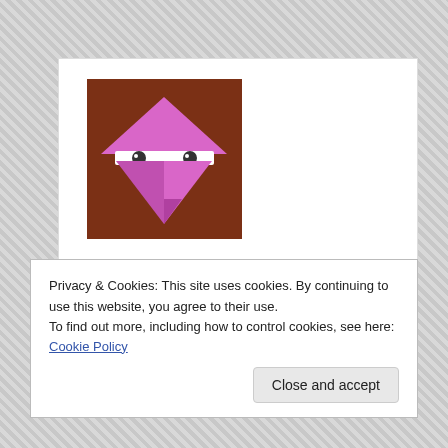[Figure (illustration): Avatar illustration: brown square background with a pink/magenta triangle face character wearing glasses, stylized cartoon face]
MARIJA KUOSAITE
mkuosaite@gmail.com
Marija Kuosaite is a contributor who lives and works in Lithuania. She finished her BSc in Sociology in the
Privacy & Cookies: This site uses cookies. By continuing to use this website, you agree to their use.
To find out more, including how to control cookies, see here: Cookie Policy
Close and accept